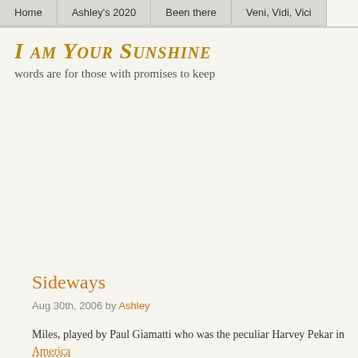Home | Ashley's 2020 | Been there | Veni, Vidi, Vici
I am Your Sunshine
words are for those with promises to keep
Sideways
Aug 30th, 2006 by Ashley
Miles, played by Paul Giamatti who was the peculiar Harvey Pekar in America a middle age English teacher and a never published writer. He is your ordina